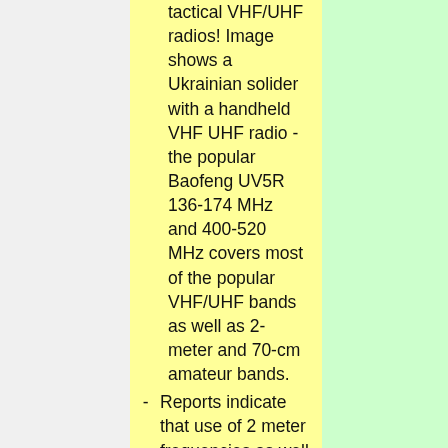tactical VHF/UHF radios! Image shows a Ukrainian solider with a handheld VHF UHF radio - the popular Baofeng UV5R 136-174 MHz and 400-520 MHz covers most of the popular VHF/UHF bands as well as 2-meter and 70-cm amateur bands.
Reports indicate that use of 2 meter frequencies as well as land mobile frequencies in the VHF band are popular for short-range tactical communications within and between units of both Ukrainian military and militia groups.  Russian troops have also been photographed with